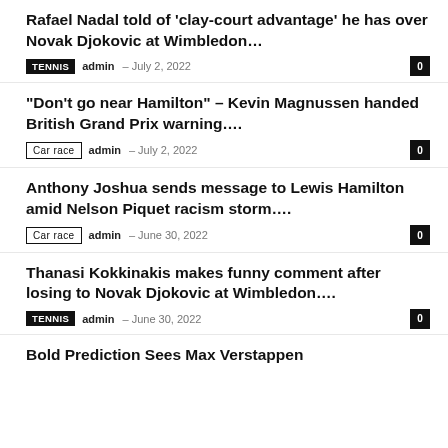Rafael Nadal told of ‘clay-court advantage’ he has over Novak Djokovic at Wimbledon…
TENNIS  admin – July 2, 2022  0
“Don’t go near Hamilton” – Kevin Magnussen handed British Grand Prix warning….
Car race  admin – July 2, 2022  0
Anthony Joshua sends message to Lewis Hamilton amid Nelson Piquet racism storm….
Car race  admin – June 30, 2022  0
Thanasi Kokkinakis makes funny comment after losing to Novak Djokovic at Wimbledon….
TENNIS  admin – June 30, 2022  0
Bold Prediction Sees Max Verstappen